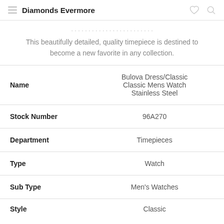Diamonds Evermore
This beautifully detailed, quality timepiece is destined to become a new favorite in any collection.
| Field | Value |
| --- | --- |
| Name | Bulova Dress/Classic Classic Mens Watch Stainless Steel |
| Stock Number | 96A270 |
| Department | Timepieces |
| Type | Watch |
| Sub Type | Men's Watches |
| Style | Classic |